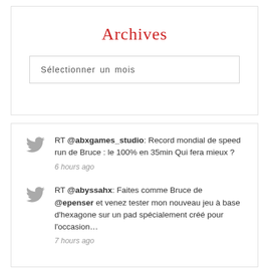Archives
Sélectionner un mois
RT @abxgames_studio: Record mondial de speed run de Bruce : le 100% en 35min Qui fera mieux ? 6 hours ago
RT @abyssahx: Faites comme Bruce de @epenser et venez tester mon nouveau jeu à base d'hexagone sur un pad spécialement créé pour l'occasion... 7 hours ago